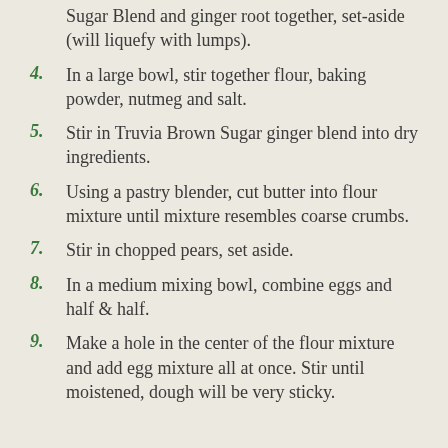(partial) Sugar Blend and ginger root together, set-aside (will liquefy with lumps).
4. In a large bowl, stir together flour, baking powder, nutmeg and salt.
5. Stir in Truvia Brown Sugar ginger blend into dry ingredients.
6. Using a pastry blender, cut butter into flour mixture until mixture resembles coarse crumbs.
7. Stir in chopped pears, set aside.
8. In a medium mixing bowl, combine eggs and half & half.
9. Make a hole in the center of the flour mixture and add egg mixture all at once. Stir until moistened, dough will be very sticky.